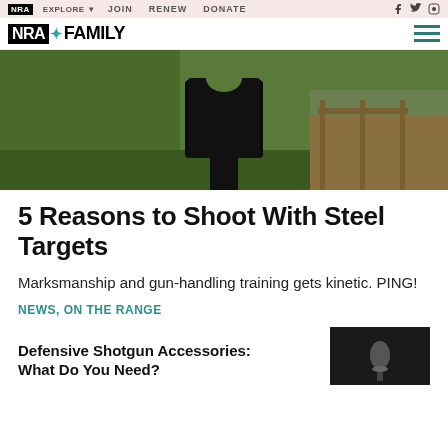NRA FAMILY — NRA EXPLORE | JOIN RENEW DONATE
[Figure (photo): A black silhouette steel shooting target on a post in an outdoor range with green foliage and a wooden fence in the background.]
5 Reasons to Shoot With Steel Targets
Marksmanship and gun-handling training gets kinetic. PING!
NEWS, ON THE RANGE
Defensive Shotgun Accessories: What Do You Need?
[Figure (photo): Partial view of a shotgun accessory or ammunition, dark background.]